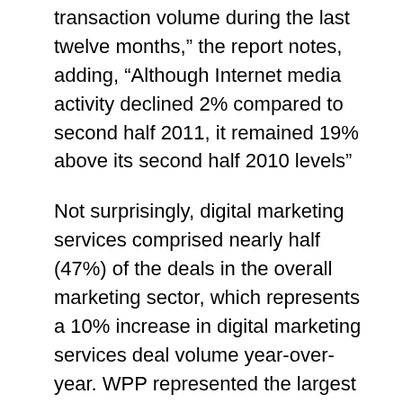transaction volume during the last twelve months,” the report notes, adding, “Although Internet media activity declined 2% compared to second half 2011, it remained 19% above its second half 2010 levels”
Not surprisingly, digital marketing services comprised nearly half (47%) of the deals in the overall marketing sector, which represents a 10% increase in digital marketing services deal volume year-over-year. WPP represented the largest acquirer in the digital marketing sub-segment, as well as in the overall media and marketing industry.
[button